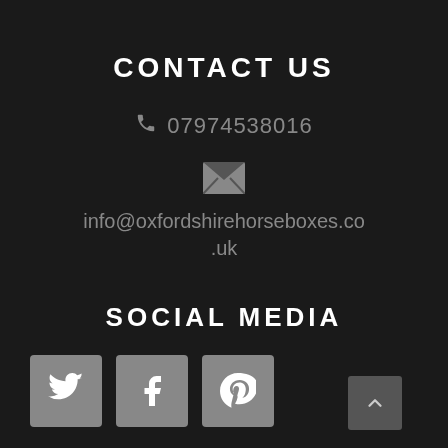CONTACT US
07974538016
info@oxfordshirehorseboxes.co.uk
SOCIAL MEDIA
[Figure (infographic): Three social media icon buttons: Twitter (bird icon), Facebook (f icon), Pinterest (p icon), all on grey square backgrounds. A scroll-to-top arrow button is shown at bottom right.]